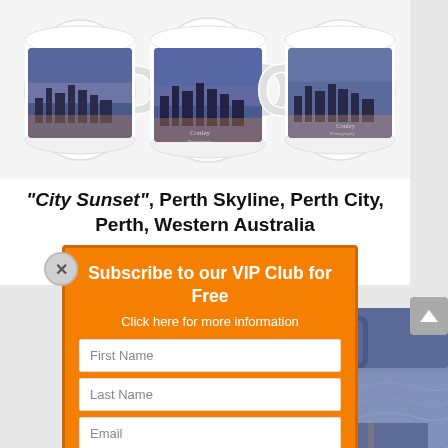[Figure (photo): Three white ceramic mugs with Perth City Sunset skyline photo printed on them, shown from different angles against a white background]
"City Sunset", Perth Skyline, Perth City, Perth, Western Australia
~~~ $~~~
[Figure (screenshot): VIP Club subscription popup overlay with orange background, containing title 'Subscribe to our VIP Club for Free', subtitle 'Click here for more information', First Name field, Last Name field, Email field, SUBSCRIBE! button, and privacy notice]
[Figure (photo): Blue and white decorative bed pillow and bedding with wavy pattern, bottom right corner]